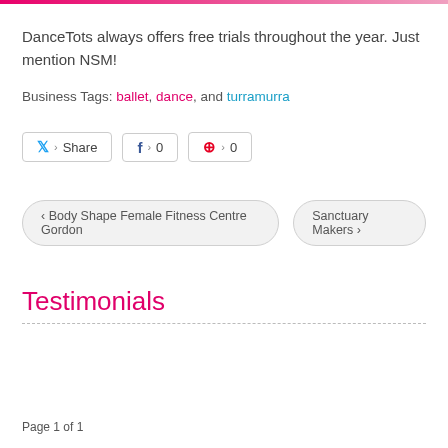DanceTots always offers free trials throughout the year.  Just mention NSM!
Business Tags: ballet, dance, and turramurra
Share  0  0
‹ Body Shape Female Fitness Centre Gordon   Sanctuary Makers ›
Testimonials
Page 1 of 1